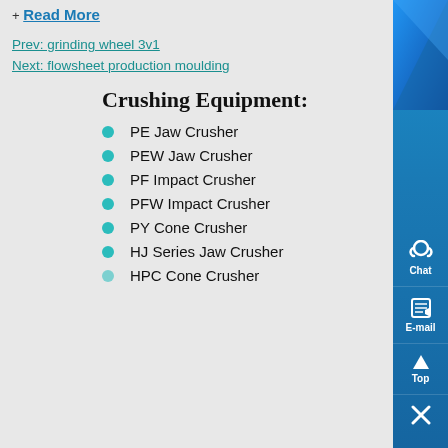+ Read More
Prev: grinding wheel 3v1
Next: flowsheet production moulding
Crushing Equipment:
PE Jaw Crusher
PEW Jaw Crusher
PF Impact Crusher
PFW Impact Crusher
PY Cone Crusher
HJ Series Jaw Crusher
HPC Cone Crusher